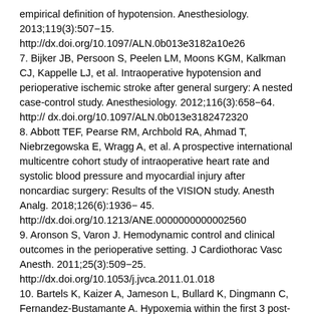empirical definition of hypotension. Anesthesiology. 2013;119(3):507−15. http://dx.doi.org/10.1097/ALN.0b013e3182a10e26
7. Bijker JB, Persoon S, Peelen LM, Moons KGM, Kalkman CJ, Kappelle LJ, et al. Intraoperative hypotension and perioperative ischemic stroke after general surgery: A nested case-control study. Anesthesiology. 2012;116(3):658−64. http://dx.doi.org/10.1097/ALN.0b013e3182472320
8. Abbott TEF, Pearse RM, Archbold RA, Ahmad T, Niebrzegowska E, Wragg A, et al. A prospective international multicentre cohort study of intraoperative heart rate and systolic blood pressure and myocardial injury after noncardiac surgery: Results of the VISION study. Anesth Analg. 2018;126(6):1936− 45. http://dx.doi.org/10.1213/ANE.0000000000002560
9. Aronson S, Varon J. Hemodynamic control and clinical outcomes in the perioperative setting. J Cardiothorac Vasc Anesth. 2011;25(3):509−25. http://dx.doi.org/10.1053/j.jvca.2011.01.018
10. Bartels K, Kaizer A, Jameson L, Bullard K, Dingmann C, Fernandez-Bustamante A. Hypoxemia within the first 3 post-operative days is associated with increased 1-year postoperative mortality after adjusting for perioperative opioids and other confounders. Anesth Analg. 2020;131(2):555−63. http://dx.doi.org/10.1213/ANE.0000000000004552